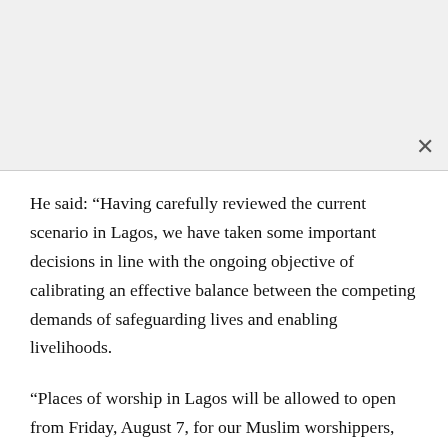He said: “Having carefully reviewed the current scenario in Lagos, we have taken some important decisions in line with the ongoing objective of calibrating an effective balance between the competing demands of safeguarding lives and enabling livelihoods.
“Places of worship in Lagos will be allowed to open from Friday, August 7, for our Muslim worshippers, and Sunday, August 9, for Christian worshippers, but only at 50 per cent of their regular capacity.